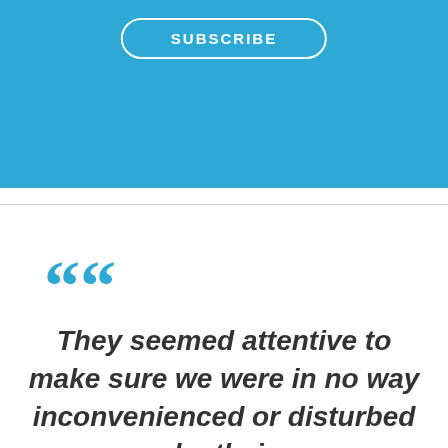SUBSCRIBE
““
They seemed attentive to make sure we were in no way inconvenienced or disturbed by their